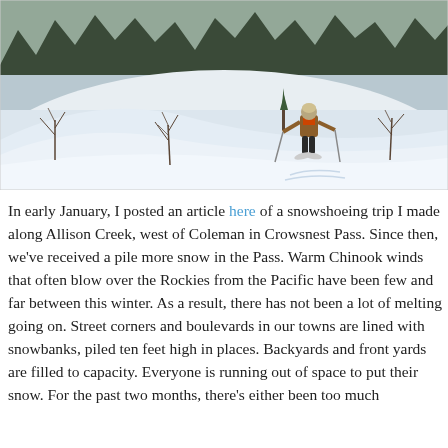[Figure (photo): A person snowshoeing across a snow-covered hillside with bare shrubs and evergreen trees in the background.]
In early January, I posted an article here of a snowshoeing trip I made along Allison Creek, west of Coleman in Crowsnest Pass. Since then, we've received a pile more snow in the Pass. Warm Chinook winds that often blow over the Rockies from the Pacific have been few and far between this winter. As a result, there has not been a lot of melting going on. Street corners and boulevards in our towns are lined with snowbanks, piled ten feet high in places. Backyards and front yards are filled to capacity. Everyone is running out of space to put their snow. For the past two months, there's either been too much